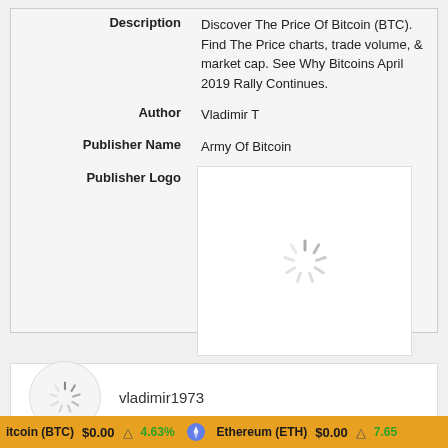| Field | Value |
| --- | --- |
| Description | Discover The Price Of Bitcoin (BTC). Find The Price charts, trade volume, & market cap. See Why Bitcoins April 2019 Rally Continues. |
| Author | Vladimir T |
| Publisher Name | Army Of Bitcoin |
| Publisher Logo | [loading spinner] |
[Figure (other): Profile section with avatar loading spinner and username vladimir1973]
vladimir1973
itcoin (BTC) $0.00 ↑ 4.63%   Ethereum (ETH) $0.00 ↑ 7.65